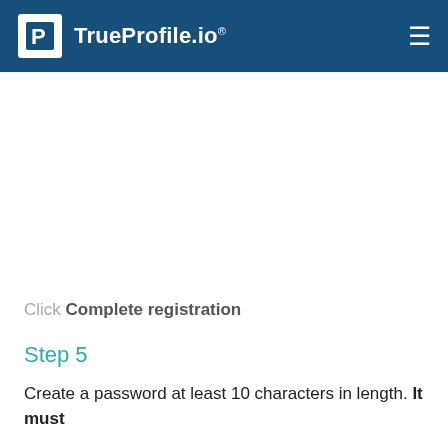TrueProfile.io®
Click Complete registration
Step 5
Create a password at least 10 characters in length. It must